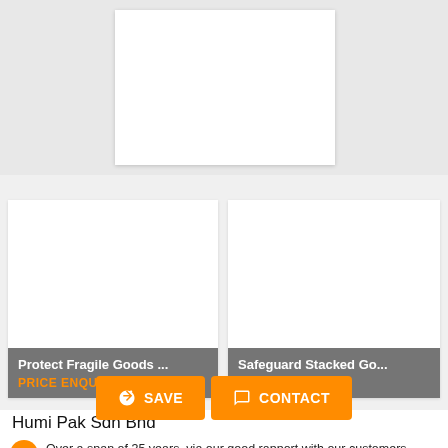[Figure (photo): Top banner area with white card/image placeholder on grey background]
[Figure (photo): Product card: Protect Fragile Goods... with grey footer and orange PRICE ENQUIRY link]
[Figure (photo): Product card: Safeguard Stacked Go... with grey footer and orange PRICE ENQUIRY link]
Humi Pak Sdn Bhd
Over a span of 35 years, via our good rapport with our customers, Humi Pak has evolved and created a niche in the packaging industry with its host of products catering to Pharmaceutical, Manufacturing, Food, Aerospace, and Chemicals industry.